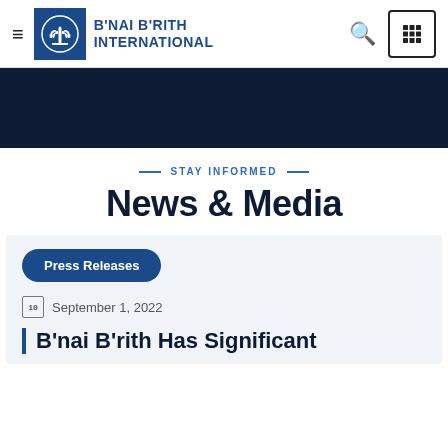[Figure (logo): B'nai B'rith International logo with menorah symbol in blue square and organization name in blue bold text]
[Figure (illustration): Dark navy banner image area]
STAY INFORMED
News & Media
Press Releases
September 1, 2022
B'nai B'rith Has Significant